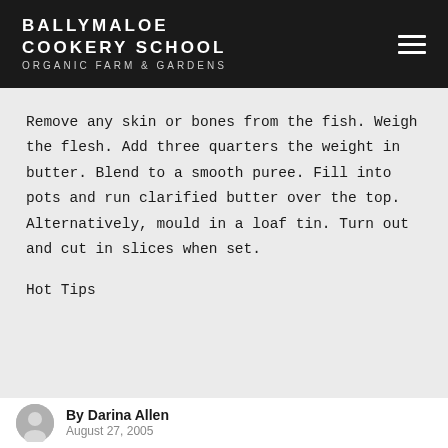BALLYMALOE COOKERY SCHOOL ORGANIC FARM & GARDENS
Remove any skin or bones from the fish. Weigh the flesh. Add three quarters the weight in butter. Blend to a smooth puree. Fill into pots and run clarified butter over the top. Alternatively, mould in a loaf tin. Turn out and cut in slices when set.
Hot Tips
By Darina Allen
August 27, 2005